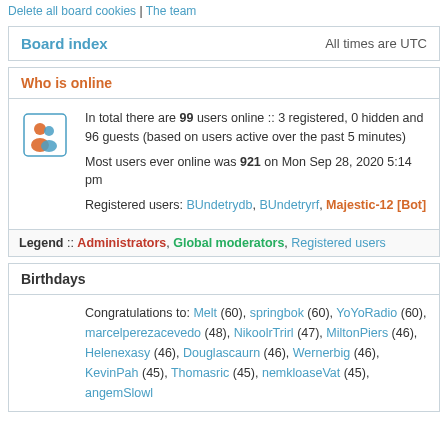Delete all board cookies | The team
Board index                    All times are UTC
Who is online
In total there are 99 users online :: 3 registered, 0 hidden and 96 guests (based on users active over the past 5 minutes)
Most users ever online was 921 on Mon Sep 28, 2020 5:14 pm
Registered users: BUndetrydb, BUndetryrf, Majestic-12 [Bot]
Legend :: Administrators, Global moderators, Registered users
Birthdays
Congratulations to: Melt (60), springbok (60), YoYoRadio (60), marcelperezacevedo (48), NikoolrTrirl (47), MiltonPiers (46), Helenexasy (46), Douglascaurn (46), Wernerbig (46), KevinPah (45), Thomasric (45), nemkloaseVat (45), angemSlowl